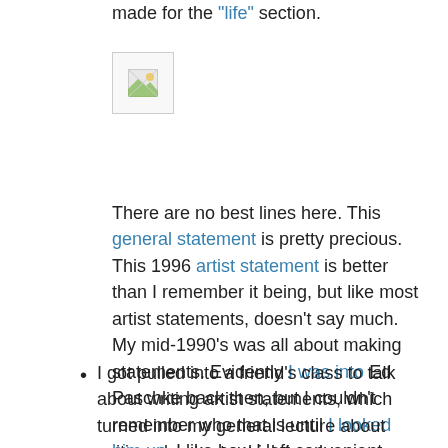made for the "life" section.
[Figure (photo): Broken/missing image placeholder icon]
There are no best lines here. This general statement is pretty precious. This 1996 artist statement is better than I remember it being, but like most artist statements, doesn't say much. My mid-1990's was all about making statements. Evidently I was into Ed Paschke back then, but I couldn't remember who that is until I looked him up. I like how I left convenient blank spots for future interests.
I got pulled into a friend's class to talk about writing artist statements, which turned into my general lecture about writing about art, which involves an onion/layers-of-the-earth diagram and some dramatic scribbling, but here is the general advice on artist statements: